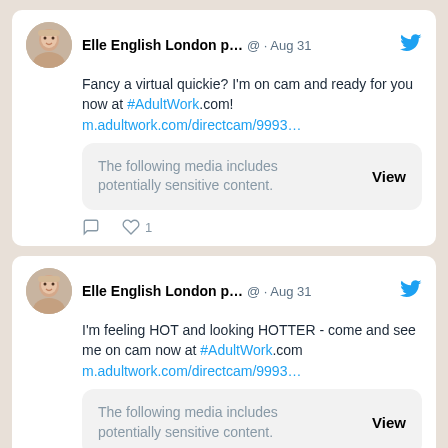[Figure (screenshot): First tweet from Elle English London p... showing a post about AdultWork.com with sensitive media warning]
[Figure (screenshot): Second tweet from Elle English London p... showing a post about AdultWork.com with sensitive media warning]